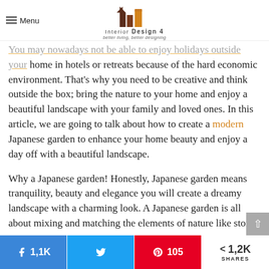Menu | Interior Design 4 — better living, better designing
You may nowadays not be able to enjoy holidays outside your home in hotels or retreats because of the hard economic environment. That's why you need to be creative and think outside the box; bring the nature to your home and enjoy a beautiful landscape with your family and loved ones. In this article, we are going to talk about how to create a modern Japanese garden to enhance your home beauty and enjoy a day off with a beautiful landscape.
Why a Japanese garden! Honestly, Japanese garden means tranquility, beauty and elegance you will create a dreamy landscape with a charming look. A Japanese garden is all about mixing and matching the elements of nature like ston…
1,1K shares | Tweet | 105 pins | 1,2K SHARES